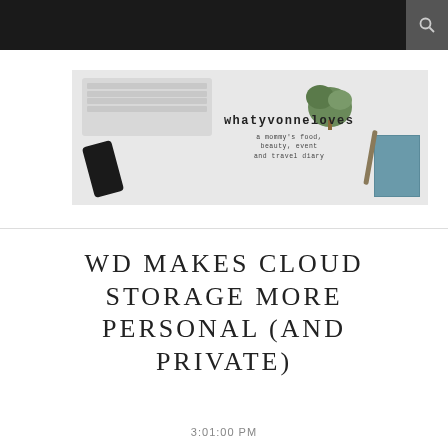whatyVonneloves — a mommy's food, beauty, event and travel diary
[Figure (photo): Blog banner image showing a keyboard, phone, plant, and notebook with text 'whatyvonneloves - a mommy's food, beauty, event and travel diary']
WD MAKES CLOUD STORAGE MORE PERSONAL (AND PRIVATE)
3:01:00 PM